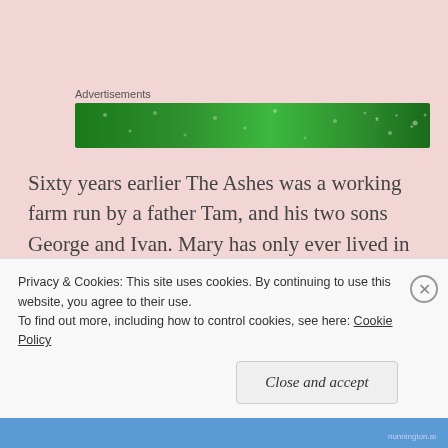Advertisements
[Figure (other): Green advertisement banner with sparkle/dot pattern]
Sixty years earlier The Ashes was a working farm run by a father Tam, and his two sons George and Ivan. Mary has only ever lived in the house, she has no idea who her mummy is, there are two women mummy Joy and mummy Noreen, equally she has no idea which of the men is her daddy, so they are all called daddy. Mary
Privacy & Cookies: This site uses cookies. By continuing to use this website, you agree to their use.
To find out more, including how to control cookies, see here: Cookie Policy
Close and accept